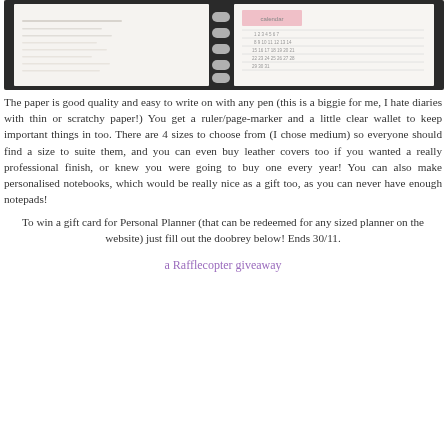[Figure (photo): A ring-bound planner/diary open showing weekly pages with a calendar grid on the right side, photographed from above on a dark surface.]
The paper is good quality and easy to write on with any pen (this is a biggie for me, I hate diaries with thin or scratchy paper!) You get a ruler/page-marker and a little clear wallet to keep important things in too. There are 4 sizes to choose from (I chose medium) so everyone should find a size to suite them, and you can even buy leather covers too if you wanted a really professional finish, or knew you were going to buy one every year! You can also make personalised notebooks, which would be really nice as a gift too, as you can never have enough notepads!
To win a gift card for Personal Planner (that can be redeemed for any sized planner on the website) just fill out the doobrey below! Ends 30/11.
a Rafflecopter giveaway